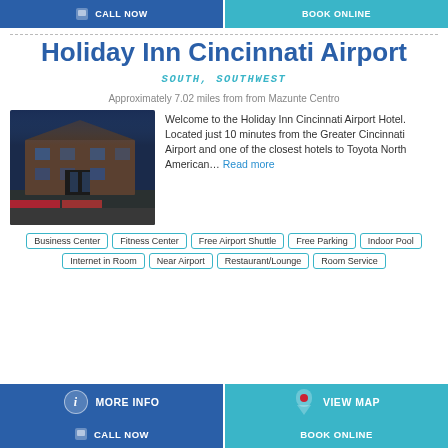CALL NOW | BOOK ONLINE
Holiday Inn Cincinnati Airport
SOUTH, SOUTHWEST
Approximately 7.02 miles from from Mazunte Centro
[Figure (photo): Exterior photo of Holiday Inn Cincinnati Airport hotel building at dusk with landscaping]
Welcome to the Holiday Inn Cincinnati Airport Hotel. Located just 10 minutes from the Greater Cincinnati Airport and one of the closest hotels to Toyota North American... Read more
Business Center
Fitness Center
Free Airport Shuttle
Free Parking
Indoor Pool
Internet in Room
Near Airport
Restaurant/Lounge
Room Service
MORE INFO | VIEW MAP
CALL NOW | BOOK ONLINE